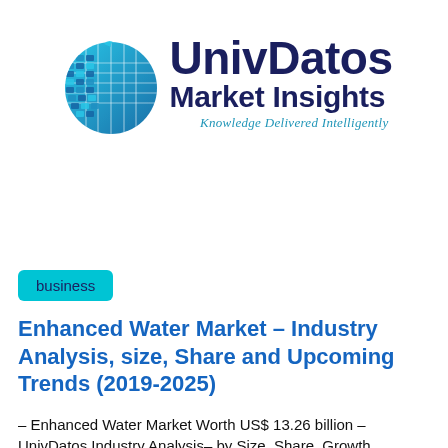[Figure (logo): UnivDatos Market Insights logo with a globe graphic on the left and the text 'UnivDatos Market Insights' with tagline 'Knowledge Delivered Intelligently']
business
Enhanced Water Market - Industry Analysis, size, Share and Upcoming Trends (2019-2025)
- Enhanced Water Market Worth US$ 13.26 billion - UnivDatos Industry Analysis- by Size, Share, Growth,